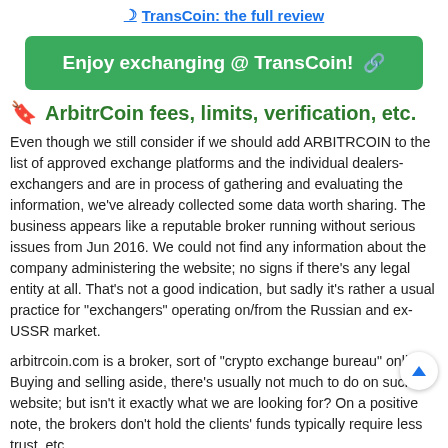TransCoin: the full review
[Figure (other): Green CTA button: Enjoy exchanging @ TransCoin! with link icon]
ArbitrCoin fees, limits, verification, etc.
Even though we still consider if we should add ARBITRCOIN to the list of approved exchange platforms and the individual dealers-exchangers and are in process of gathering and evaluating the information, we've already collected some data worth sharing. The business appears like a reputable broker running without serious issues from Jun 2016. We could not find any information about the company administering the website; no signs if there's any legal entity at all. That's not a good indication, but sadly it's rather a usual practice for "exchangers" operating on/from the Russian and ex-USSR market.
arbitrcoin.com is a broker, sort of "crypto exchange bureau" online. Buying and selling aside, there's usually not much to do on such a website; but isn't it exactly what we are looking for? On a positive note, the brokers don't hold the clients' funds typically require less trust, etc.
Dealing with a reputable service of the sort is virtually risk-free,